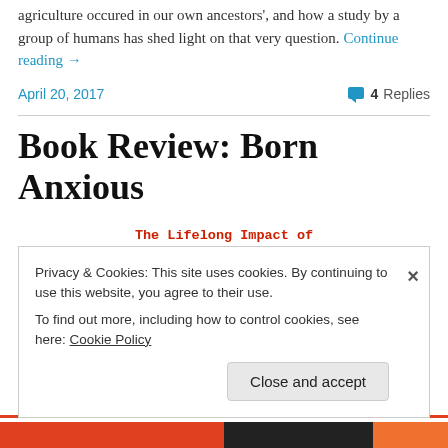agriculture occured in our own ancestors', and how a study by a group of humans has shed light on that very question. Continue reading →
April 20, 2017 | 4 Replies
Book Review: Born Anxious
The Lifelong Impact of Early Life Adversity— and How to Break the Cycle
Privacy & Cookies: This site uses cookies. By continuing to use this website, you agree to their use. To find out more, including how to control cookies, see here: Cookie Policy
Close and accept